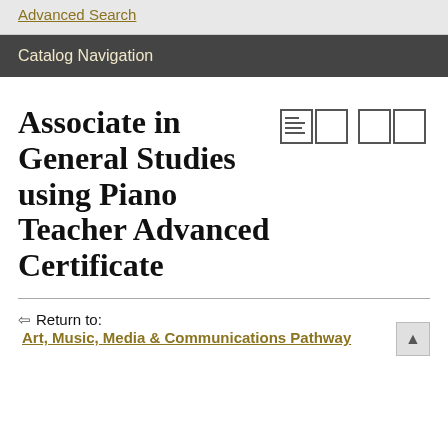Advanced Search
Catalog Navigation
Associate in General Studies using Piano Teacher Advanced Certificate
Return to: Art, Music, Media & Communications Pathway